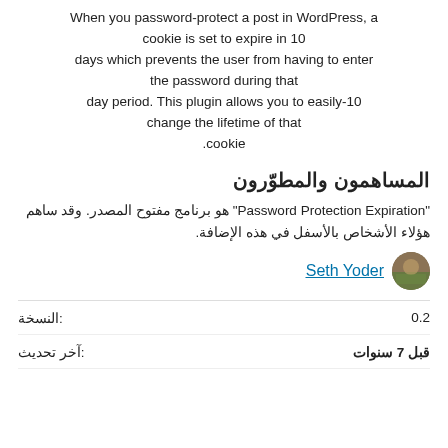When you password-protect a post in WordPress, a cookie is set to expire in 10 days which prevents the user from having to enter the password during that day period. This plugin allows you to easily-10 change the lifetime of that cookie.
المساهمون والمطوّرون
"Password Protection Expiration" هو برنامج مفتوح المصدر. وقد ساهم هؤلاء الأشخاص بالأسفل في هذه الإضافة.
Seth Yoder
| label | value |
| --- | --- |
| النسخة: | 0.2 |
| آخر تحديث: | قبل 7 سنوات |